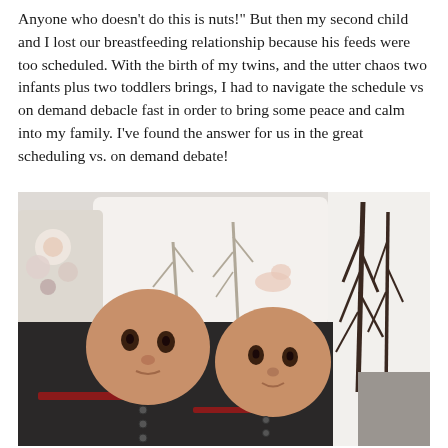Anyone who doesn't do this is nuts!" But then my second child and I lost our breastfeeding relationship because his feeds were too scheduled. With the birth of my twins, and the utter chaos two infants plus two toddlers brings, I had to navigate the schedule vs on demand debacle fast in order to bring some peace and calm into my family. I've found the answer for us in the great scheduling vs. on demand debate!
[Figure (photo): Photo of two young baby twins lying on their backs on a white surface surrounded by decorative pillows. Both babies are wearing dark outfits. The background shows patterned pillows including one with floral designs on the left and one with tree/forest silhouette designs on the right.]